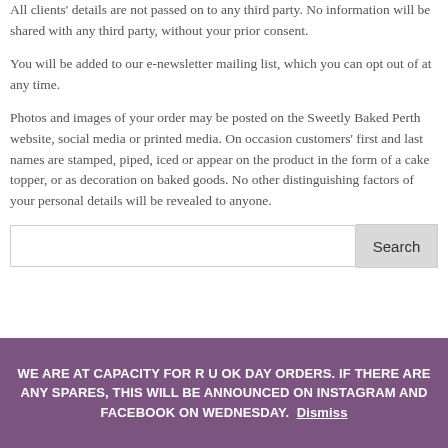All clients' details are not passed on to any third party. No information will be shared with any third party, without your prior consent.
You will be added to our e-newsletter mailing list, which you can opt out of at any time.
Photos and images of your order may be posted on the Sweetly Baked Perth website, social media or printed media. On occasion customers' first and last names are stamped, piped, iced or appear on the product in the form of a cake topper, or as decoration on baked goods. No other distinguishing factors of your personal details will be revealed to anyone.
Search
WE ARE AT CAPACITY FOR R U OK DAY ORDERS. IF THERE ARE ANY SPARES, THIS WILL BE ANNOUNCED ON INSTAGRAM AND FACEBOOK ON WEDNESDAY. Dismiss